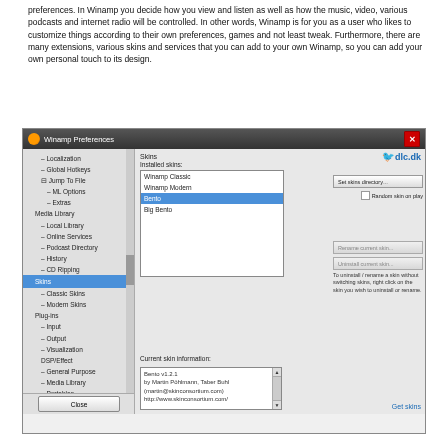preferences. In Winamp you decide how you view and listen as well as how the music, video, various podcasts and internet radio will be controlled. In other words, Winamp is for you as a user who likes to customize things according to their own preferences, games and not least tweak. Furthermore, there are many extensions, various skins and services that you can add to your own Winamp, so you can add your own personal touch to its design.
[Figure (screenshot): Winamp Preferences dialog showing Skins section. Left panel has a tree menu with items: Localization, Global Hotkeys, Jump To File, ML Options, Extras, Media Library, Local Library, Online Services, Podcast Directory, History, CD Ripping, Skins (highlighted in blue), Classic Skins, Modern Skins, Plug-ins, Input, Output, Visualization, DSP/Effect, General Purpose, Media Library, Portables, Error Feedback. Right panel shows Skins section with an installed skins list (Winamp Classic, Winamp Modern, Bento selected in blue, Big Bento). Buttons: Set skins directory..., Random skin on play checkbox, Rename current skin..., Uninstall current skin.... Current skin information shows: Bento v1.2.1 by Martin Pöhlmann, Taber Buhl (martin@skinconsortium.com) http://www.skinconsortium.com/. Bottom right shows Get skins link. dlc.dk logo in top right.]